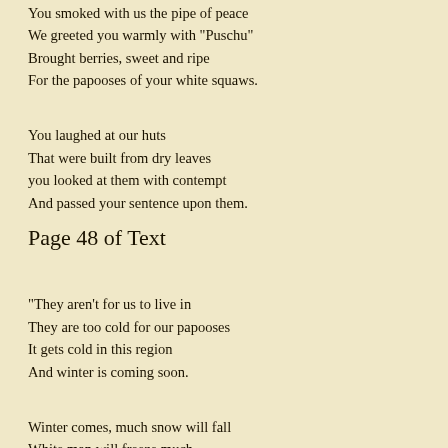You smoked with us the pipe of peace
We greeted you warmly with "Puschu"
Brought berries, sweet and ripe
For the papooses of your white squaws.
You laughed at our huts
That were built from dry leaves
you looked at them with contempt
And passed your sentence upon them.
Page 48 of Text
"They aren't for us to live in
They are too cold for our papooses
It gets cold in this region
And winter is coming soon.
Winter comes, much snow will fall
White man will freeze much
White squaw must clothes sew
Blankets, and more of the such.
Winter comes, and the cold will storm
Dead deer will be found
The snow will be high, towering high